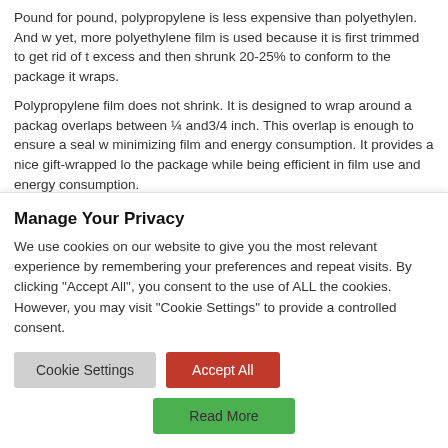Pound for pound, polypropylene is less expensive than polyethylen. And yet, more polyethylene film is used because it is first trimmed to get rid of the excess and then shrunk 20-25% to conform to the package it wraps.
Polypropylene film does not shrink. It is designed to wrap around a package and overlaps between ¼ and 3/4 inch. This overlap is enough to ensure a seal while minimizing film and energy consumption. It provides a nice gift-wrapped look to the package while being efficient in film use and energy consumption.
Overwrappers can wrap using non-petroleum based materials such as biodegradable films, paper or waxed paper. That overwrapping provides a and attractive wrap is our customer's bonus.
Manage Your Privacy
We use cookies on our website to give you the most relevant experience by remembering your preferences and repeat visits. By clicking "Accept All", you consent to the use of ALL the cookies. However, you may visit "Cookie Settings" to provide a controlled consent.